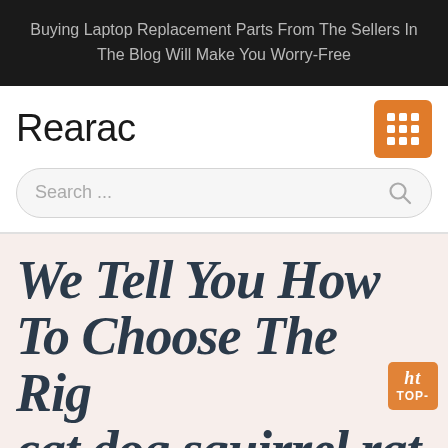Buying Laptop Replacement Parts From The Sellers In The Blog Will Make You Worry-Free
Rearac
Search ...
We Tell You How To Choose The Right cat dog squirrel rat